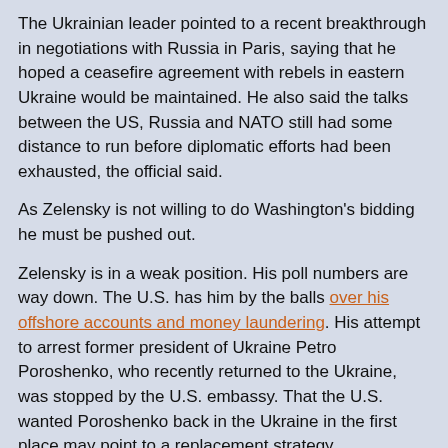The Ukrainian leader pointed to a recent breakthrough in negotiations with Russia in Paris, saying that he hoped a ceasefire agreement with rebels in eastern Ukraine would be maintained. He also said the talks between the US, Russia and NATO still had some distance to run before diplomatic efforts had been exhausted, the official said.
As Zelensky is not willing to do Washington's bidding he must be pushed out.
Zelensky is in a weak position. His poll numbers are way down. The U.S. has him by the balls over his offshore accounts and money laundering. His attempt to arrest former president of Ukraine Petro Poroshenko, who recently returned to the Ukraine, was stopped by the U.S. embassy. That the U.S. wanted Poroshenko back in the Ukraine in the first place may point to a replacement strategy.
Leonid Ragozin believes that to be the case:
[T]hroughout the year Zelenskiy has been forced to devote significant time and attention to an attempt by the radical part of the security apparatus...